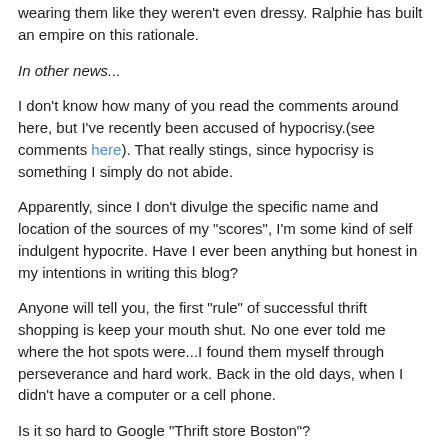wearing them like they weren't even dressy. Ralphie has built an empire on this rationale.
In other news...
I don't know how many of you read the comments around here, but I've recently been accused of hypocrisy.(see comments here). That really stings, since hypocrisy is something I simply do not abide.
Apparently, since I don't divulge the specific name and location of the sources of my "scores", I'm some kind of self indulgent hypocrite. Have I ever been anything but honest in my intentions in writing this blog?
Anyone will tell you, the first "rule" of successful thrift shopping is keep your mouth shut. No one ever told me where the hot spots were...I found them myself through perseverance and hard work. Back in the old days, when I didn't have a computer or a cell phone.
Is it so hard to Google "Thrift store Boston"?